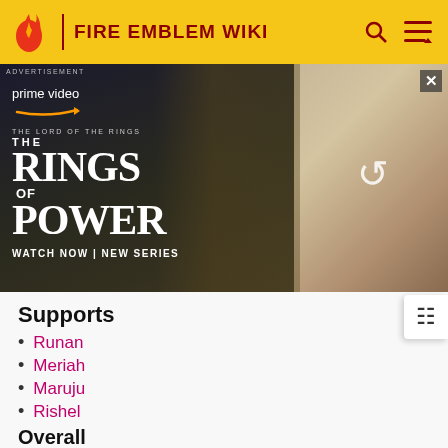FIRE EMBLEM WIKI
[Figure (photo): Advertisement banner for Amazon Prime Video's 'The Lord of the Rings: The Rings of Power' series showing a cloaked character and blonde woman, with 'WATCH NOW | NEW SERIES' tagline]
Supports
Runan
Meriah
Maruju
Rishel
Overall
Enteh is the first healer to be recruited and comes with a ☆Memory Staff, which allows her to permanently save in the middle of a stage, she is able to be used in